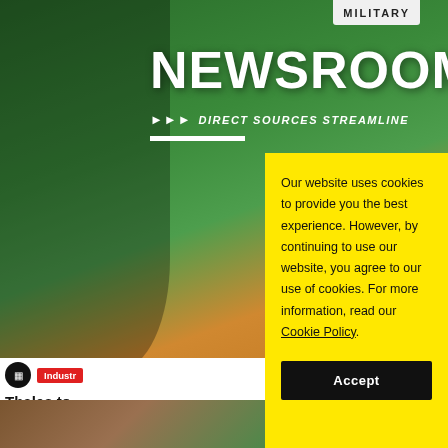[Figure (screenshot): Newsroom website background with dark green gradient banner, silhouette figure, NEWSROOM title, tagline DIRECT SOURCES STREAMLINE, MILITARY tag at top right, and article snippet below]
NEWSROOM
>>> DIRECT SOURCES STREAMLINE
Thales to Defence f Army
Internatio
Our website uses cookies to provide you the best experience. However, by continuing to use our website, you agree to our use of cookies. For more information, read our Cookie Policy.
Accept
MILITARY